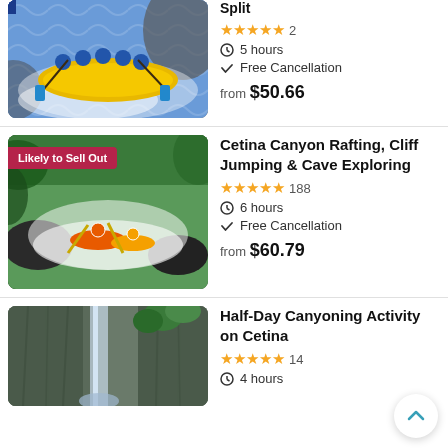[Figure (photo): Group of people white water rafting in a yellow raft on rapids, wearing blue helmets]
Split
★★★★★ 2
⏱ 5 hours
✓ Free Cancellation
from $50.66
[Figure (photo): Kayakers navigating fast moving rapids in a green forested canyon, with Likely to Sell Out badge]
Cetina Canyon Rafting, Cliff Jumping & Cave Exploring
★★★★★ 188
⏱ 6 hours
✓ Free Cancellation
from $60.79
[Figure (photo): Rocky canyon walls with waterfall and green trees, canyoning activity location]
Half-Day Canyoning Activity on Cetina
★★★★★ 14
⏱ 4 hours